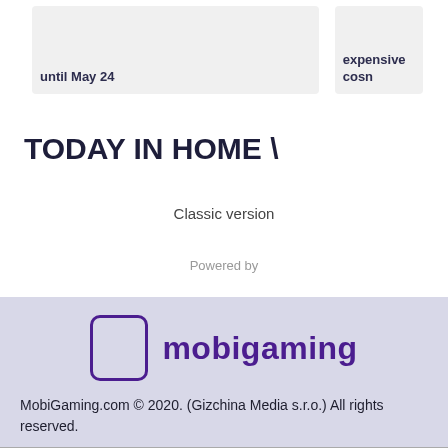until May 24
expensive cosn
TODAY IN HOME \
Classic version
Powered by
[Figure (logo): mobigaming logo with rounded rectangle icon and text]
MobiGaming.com © 2020. (Gizchina Media s.r.o.) All rights reserved.